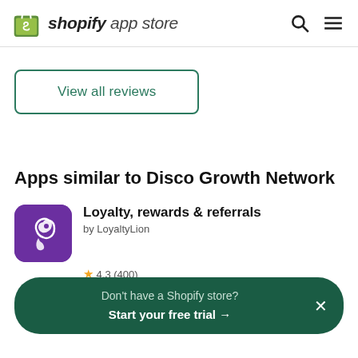shopify app store
View all reviews
Apps similar to Disco Growth Network
[Figure (logo): LoyaltyLion app icon — purple square with white lion/swirl logo]
Loyalty, rewards & referrals
by LoyaltyLion
4.3 (400)
Don't have a Shopify store? Start your free trial →